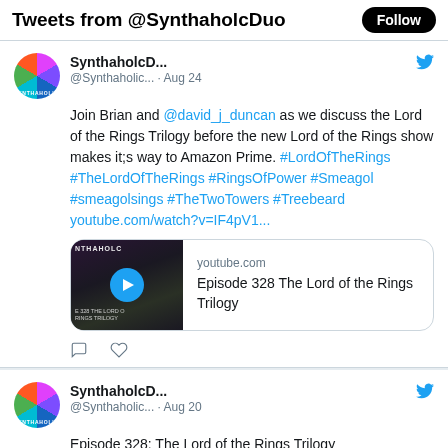Tweets from @SynthaholcDuo
[Figure (screenshot): Tweet from SynthaholcD... @Synthaholic... Aug 24 - Join Brian and @david_j_duncan as we discuss the Lord of the Rings Trilogy before the new Lord of the Rings show makes it;s way to Amazon Prime. #LordOfTheRings #TheLordOfTheRings #RingsOfPower #Smeagol #smeagolsings #TheTwoTowers #Treebeard youtube.com/watch?v=IF4pV1... with YouTube link card: Episode 328 The Lord of the Rings Trilogy]
[Figure (screenshot): Tweet from SynthaholcD... @Synthaholic... Aug 20 - Episode 328: The Lord of the Rings Trilogy twitch.tv/synthaholics]